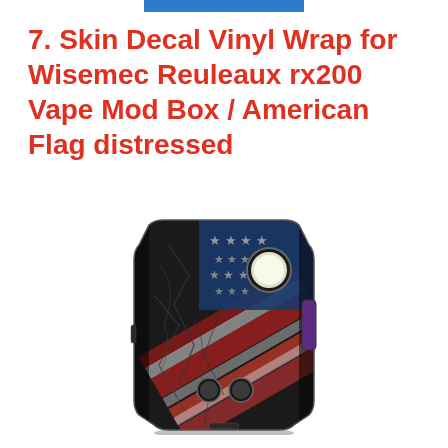7. Skin Decal Vinyl Wrap for Wisemec Reuleaux rx200 Vape Mod Box / American Flag distressed
[Figure (photo): Product photo of a Wisemec Reuleaux rx200 Vape Mod Box with a skin decal featuring a distressed American Flag design. The box mod is rectangular with beveled edges, predominantly dark/black with a cracked texture American flag (red, white, blue) covering the front and sides. The device shows various buttons and a round display/screen element.]